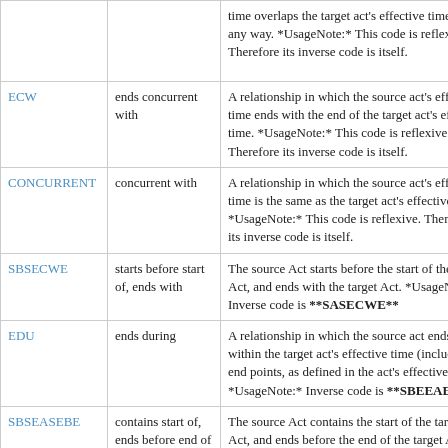| Code | Name | Description |
| --- | --- | --- |
|  |  | time overlaps the target act's effective time in any way. *UsageNote:* This code is reflexive. Therefore its inverse code is itself. |
| ECW | ends concurrent with | A relationship in which the source act's effective time ends with the end of the target act's effective time. *UsageNote:* This code is reflexive. Therefore its inverse code is itself. |
| CONCURRENT | concurrent with | A relationship in which the source act's effective time is the same as the target act's effective time. *UsageNote:* This code is reflexive. Therefore its inverse code is itself. |
| SBSECWE | starts before start of, ends with | The source Act starts before the start of the target Act, and ends with the target Act. *UsageNote:* Inverse code is **SASECWE** |
| EDU | ends during | A relationship in which the source act ends within the target act's effective time (including end points, as defined in the act's effective times) *UsageNote:* Inverse code is **SBEEAE** |
| SBSEASEBE | contains start of, ends before end of | The source Act contains the start of the target Act, and ends before the end of the target Act. *UsageNote:* Inverse code is **SASSBEEAS** |
| SCWSEBE | starts with. ends before end of | The source Act starts with.the target Act and ends before the end of the target Act. *UsageNote:* Inverse code is **SCWSEAE** |